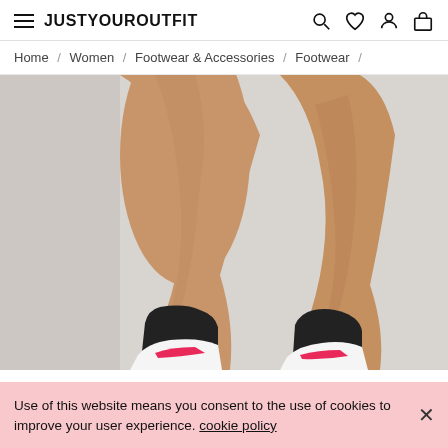JUSTYOUROUTFIT — navigation header with hamburger menu, logo, search, wishlist, account, bag icons
Home / Women / Footwear & Accessories / Footwear /
[Figure (photo): Close-up photo of a person's lower legs and feet wearing black ankle socks and white and pink sneakers, standing against a light grey background.]
Use of this website means you consent to the use of cookies to improve your user experience. cookie policy